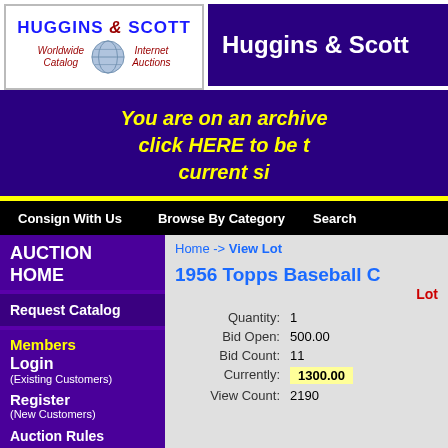[Figure (logo): Huggins & Scott logo with globe, Worldwide Catalog, Internet Auctions]
Huggins & Scott
You are on an archived page, click HERE to be taken to the current site
Consign With Us   Browse By Category   Search
Home -> View Lot
1956 Topps Baseball C
Lot
Quantity: 1
Bid Open: 500.00
Bid Count: 11
Currently: 1300.00
View Count: 2190
AUCTION HOME
Request Catalog
Members
Login (Existing Customers)
Register (New Customers)
Auction Rules
Hours of